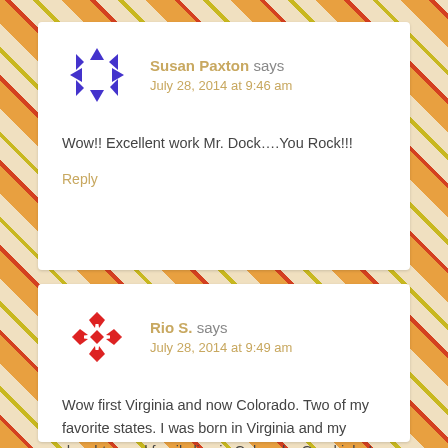[Figure (illustration): Avatar icon for Susan Paxton: blue/purple geometric star/diamond shape made of triangles arranged in a circle]
Susan Paxton says
July 28, 2014 at 9:46 am
Wow!! Excellent work Mr. Dock….You Rock!!!
Reply
[Figure (illustration): Avatar icon for Rio S.: red geometric snowflake/quilt-star pattern made of triangles and diamond shapes]
Rio S. says
July 28, 2014 at 9:49 am
Wow first Virginia and now Colorado. Two of my favorite states. I was born in Virginia and my daughter and family live in Colorado. Good job. I am very impressed!!!!